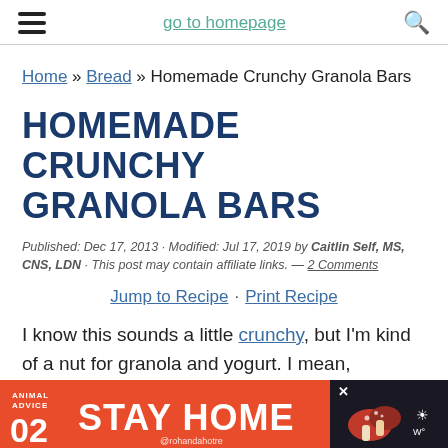go to homepage
Home » Bread » Homemade Crunchy Granola Bars
HOMEMADE CRUNCHY GRANOLA BARS
Published: Dec 17, 2013 · Modified: Jul 17, 2019 by Caitlin Self, MS, CNS, LDN · This post may contain affiliate links. — 2 Comments
Jump to Recipe · Print Recipe
I know this sounds a little crunchy, but I'm kind of a nut for granola and yogurt. I mean,
[Figure (other): Advertisement banner: ANIMAL ADVICE 02 STAY HOME @rohandahotre with illustrated mushroom characters]